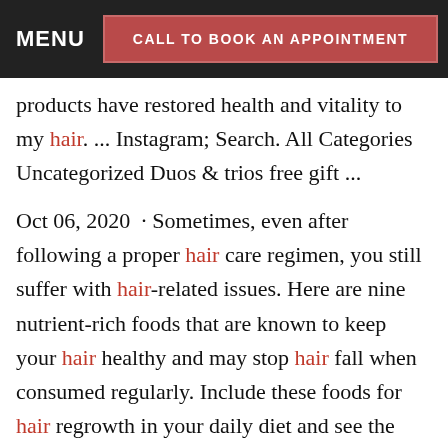MENU | CALL TO BOOK AN APPOINTMENT
products have restored health and vitality to my hair. ... Instagram; Search. All Categories Uncategorized Duos & trios free gift ...
Oct 06, 2020  · Sometimes, even after following a proper hair care regimen, you still suffer with hair-related issues. Here are nine nutrient-rich foods that are known to keep your hair healthy and may stop hair fall when consumed regularly. Include these foods for hair regrowth in your daily diet and see the difference. Foods for Hair Growth. 1.